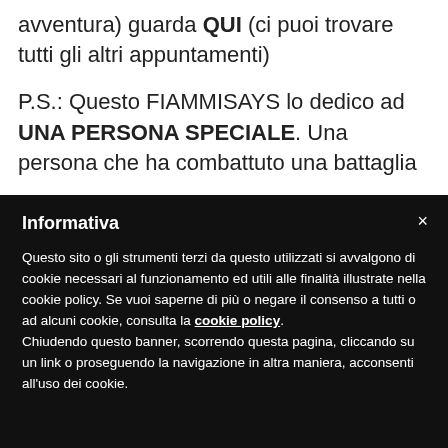avventura) guarda QUI (ci puoi trovare tutti gli altri appuntamenti)
P.S.: Questo FIAMMISAYS lo dedico ad UNA PERSONA SPECIALE. Una persona che ha combattuto una battaglia
Informativa
Questo sito o gli strumenti terzi da questo utilizzati si avvalgono di cookie necessari al funzionamento ed utili alle finalità illustrate nella cookie policy. Se vuoi saperne di più o negare il consenso a tutti o ad alcuni cookie, consulta la cookie policy. Chiudendo questo banner, scorrendo questa pagina, cliccando su un link o proseguendo la navigazione in altra maniera, acconsenti all'uso dei cookie.